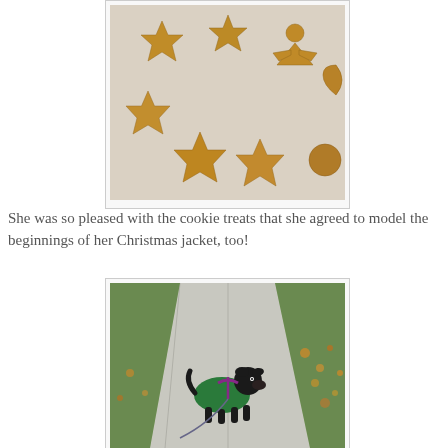[Figure (photo): Overhead photo of star-shaped and angel-shaped golden-brown baked cookie treats arranged on white parchment paper]
She was so pleased with the cookie treats that she agreed to model the beginnings of her Christmas jacket, too!
[Figure (photo): Photo of a small black dog wearing a green Christmas jacket and purple harness, standing on a sidewalk with autumn leaves on grass]